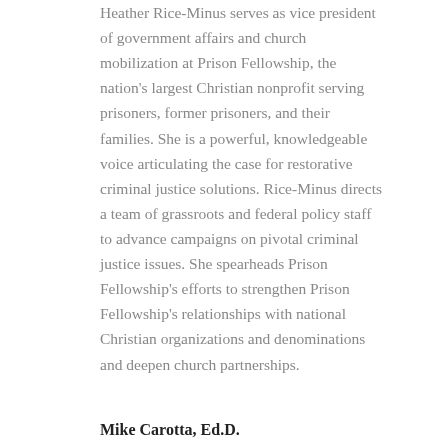Heather Rice-Minus serves as vice president of government affairs and church mobilization at Prison Fellowship, the nation's largest Christian nonprofit serving prisoners, former prisoners, and their families. She is a powerful, knowledgeable voice articulating the case for restorative criminal justice solutions. Rice-Minus directs a team of grassroots and federal policy staff to advance campaigns on pivotal criminal justice issues. She spearheads Prison Fellowship's efforts to strengthen Prison Fellowship's relationships with national Christian organizations and denominations and deepen church partnerships.
Mike Carotta, Ed.D.
Mike Carotta is a recognized religious educator, consultant and former Executive Director of the Department of Religious Education at the National Catholic Education Association. He is currently the